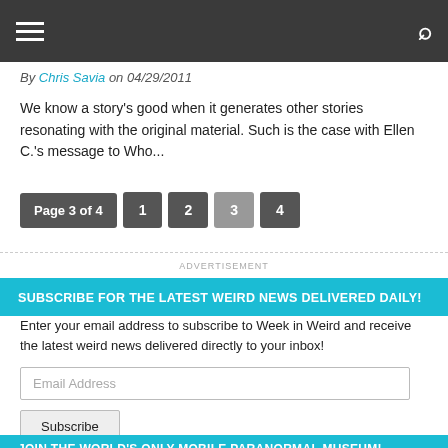navigation bar with hamburger menu and search icon
By Chris Savia on 04/29/2011
We know a story's good when it generates other stories resonating with the original material. Such is the case with Ellen C.'s message to Who...
Page 3 of 4  1  2  3  4
ADVERTISEMENT
SUBSCRIBE FOR THE LATEST WEIRD NEWS DELIVERED DAILY!
Enter your email address to subscribe to Week in Weird and receive the latest weird news delivered directly to your inbox!
Email Address
Subscribe
JOIN THE WORLD'S ONLY MOBILE PARANORMAL MUSEUM!